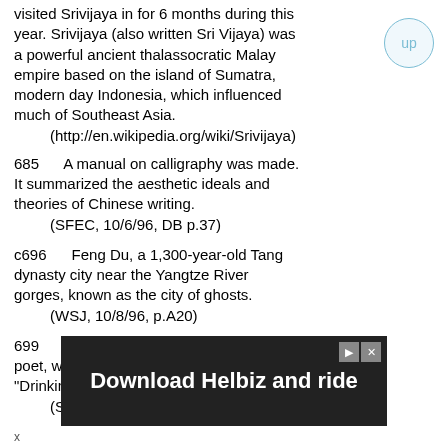visited Srivijaya in for 6 months during this year. Srivijaya (also written Sri Vijaya) was a powerful ancient thalassocratic Malay empire based on the island of Sumatra, modern day Indonesia, which influenced much of Southeast Asia.
    (http://en.wikipedia.org/wiki/Srivijaya)
685    A manual on calligraphy was made. It summarized the aesthetic ideals and theories of Chinese writing.
    (SFEC, 10/6/96, DB p.37)
c696    Feng Du, a 1,300-year-old Tang dynasty city near the Yangtze River gorges, known as the city of ghosts.
    (WSJ, 10/8/96, p.A20)
699    Li Po (d.762), classical Chinese poet, was born. His poems included "Drinking Alone With the Moon."
    (SFC, 10/30/03, p.A26)
[Figure (screenshot): Advertisement banner: 'Download Helbiz and ride' on dark background with play and close icons in top right corner.]